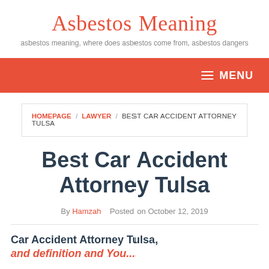Asbestos Meaning
asbestos meaning, where does asbestos come from, asbestos dangers
MENU
HOMEPAGE / LAWYER / BEST CAR ACCIDENT ATTORNEY TULSA
Best Car Accident Attorney Tulsa
By Hamzah   Posted on October 12, 2019
Car Accident Attorney Tulsa, and definition and You...